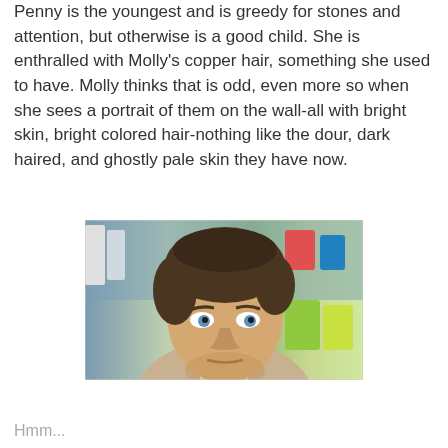Penny is the youngest and is greedy for stones and attention, but otherwise is a good child. She is enthralled with Molly's copper hair, something she used to have. Molly thinks that is odd, even more so when she sees a portrait of them on the wall-all with bright skin, bright colored hair-nothing like the dour, dark haired, and ghostly pale skin they have now.
[Figure (photo): A man with brown hair wearing a beige jacket looking sideways with a skeptical expression. Background appears to be a store or shop setting.]
Hmm...